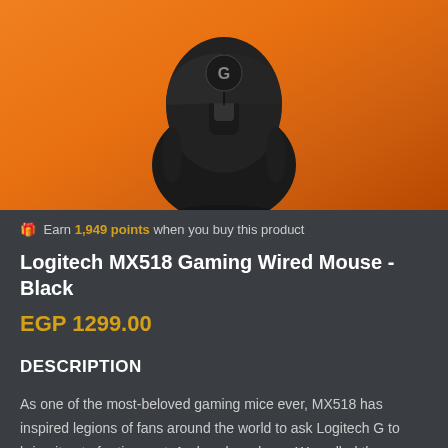[Figure (photo): Logitech MX518 gaming wired mouse in black, viewed from above, on an orange gradient background. The mouse shows the Logitech G logo on the top button.]
🎁 Earn 1,949 points when you buy this product
Logitech MX518 Gaming Wired Mouse - Black
EGP 1299.00
DESCRIPTION
As one of the most-beloved gaming mice ever, MX518 has inspired legions of fans around the world to ask Logitech G to bring it out of retirement. And we heard you. We pulled the original tools from the Vault and meticulously restored them—right down to the original glossy keyplate. It's the classic, comfortable shape you know and love, now with modern